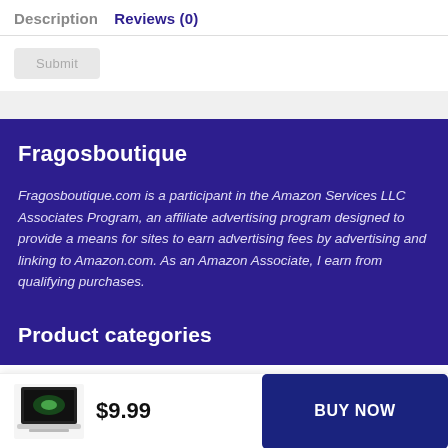Description | Reviews (0)
Submit
Fragosboutique
Fragosboutique.com is a participant in the Amazon Services LLC Associates Program, an affiliate advertising program designed to provide a means for sites to earn advertising fees by advertising and linking to Amazon.com. As an Amazon Associate, I earn from qualifying purchases.
Product categories
$9.99
BUY NOW